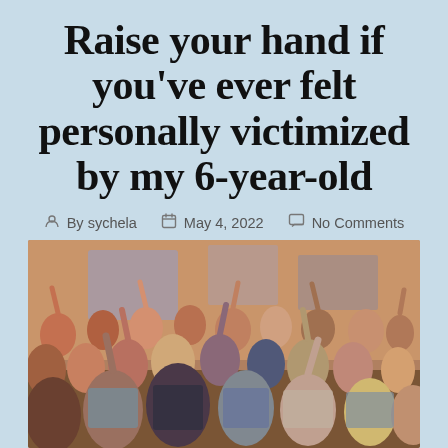Raise your hand if you've ever felt personally victimized by my 6-year-old
By sychela   May 4, 2022   No Comments
[Figure (photo): A large group of girls and young women seated in rows, many raising their hands, appearing to be from a movie scene (Mean Girls). The setting looks like an auditorium or gym with warm-toned walls.]